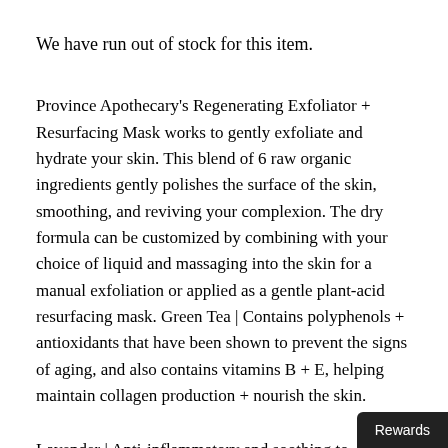We have run out of stock for this item.
Province Apothecary's Regenerating Exfoliator + Resurfacing Mask works to gently exfoliate and hydrate your skin. This blend of 6 raw organic ingredients gently polishes the surface of the skin, smoothing, and reviving your complexion. The dry formula can be customized by combining with your choice of liquid and massaging into the skin for a manual exfoliation or applied as a gentle plant-acid resurfacing mask. Green Tea | Contains polyphenols + antioxidants that have been shown to prevent the signs of aging, and also contains vitamins B + E, helping maintain collagen production + nourish the skin.
Lavender | Anti-inflammatory and soothing to sensitive
Rewards